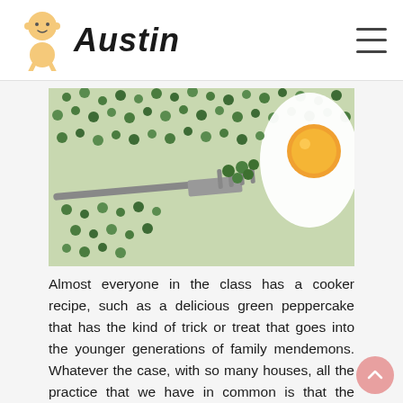Austin
[Figure (photo): Close-up photo of green peas on a plate with a fork picking up some peas, and a fried egg visible in the upper right corner.]
Almost everyone in the class has a cooker recipe, such as a delicious green peppercake that has the kind of trick or treat that goes into the younger generations of family mendemons. Whatever the case, with so many houses, all the practice that we have in common is that the green peppercorns can be cooked simply and very quickly! Also